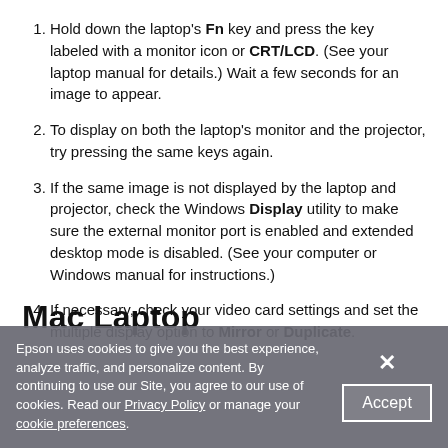Hold down the laptop's Fn key and press the key labeled with a monitor icon or CRT/LCD. (See your laptop manual for details.) Wait a few seconds for an image to appear.
To display on both the laptop's monitor and the projector, try pressing the same keys again.
If the same image is not displayed by the laptop and projector, check the Windows Display utility to make sure the external monitor port is enabled and extended desktop mode is disabled. (See your computer or Windows manual for instructions.)
If necessary, check your video card settings and set the multiple display option to Mirror or Duplicate.
Mac Laptop
Epson uses cookies to give you the best experience, analyze traffic, and personalize content. By continuing to use our Site, you agree to our use of cookies. Read our Privacy Policy or manage your cookie preferences.